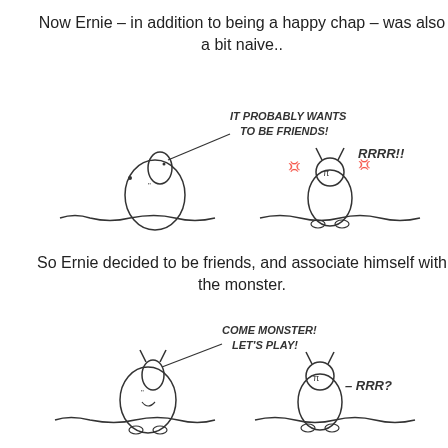Now Ernie – in addition to being a happy chap – was also a bit naive..
[Figure (illustration): Hand-drawn cartoon: a small round creature (Ernie) on the left with a speech bubble saying 'IT PROBABLY WANTS TO BE FRIENDS!', and a spiky monster on the right growling 'RRRR!!' with angry symbols around it. Both stand on a simple ground line.]
So Ernie decided to be friends, and associate himself with the monster.
[Figure (illustration): Hand-drawn cartoon: Ernie on the left smiling with a speech bubble saying 'COME MONSTER! LET'S PLAY!', and the monster on the right looking confused with '– RRR?' next to it. Both stand on a simple ground line.]